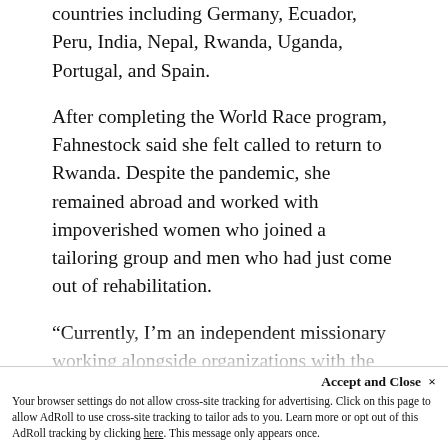countries including Germany, Ecuador, Peru, India, Nepal, Rwanda, Uganda, Portugal, and Spain.
After completing the World Race program, Fahnestock said she felt called to return to Rwanda. Despite the pandemic, she remained abroad and worked with impoverished women who joined a tailoring group and men who had just come out of rehabilitation.
“Currently, I’m an independent missionary working alongside organizations with the country I’m serving in for short periods and then circling back around,” said Fahnestock.
Along with Rwanda, Fahnestock has spent recent months in Kenya where her organizations sponsored girls for a chance to give them a better life.
Accept and Close × Your browser settings do not allow cross-site tracking for advertising. Click on this page to allow AdRoll to use cross-site tracking to tailor ads to you. Learn more or opt out of this AdRoll tracking by clicking here. This message only appears once.